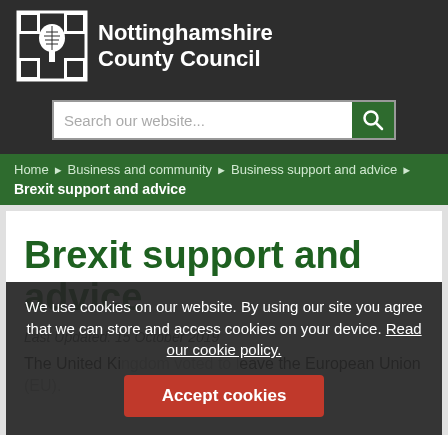[Figure (logo): Nottinghamshire County Council logo with tree emblem and white text on dark background]
Search our website...
Home ▶ Business and community ▶ Business support and advice ▶ Brexit support and advice
Brexit support and advice
Last Updated: 15 October 2019
The United Kingdom voted to leave the European Union (EU).
We use cookies on our website. By using our site you agree that we can store and access cookies on your device. Read our cookie policy.